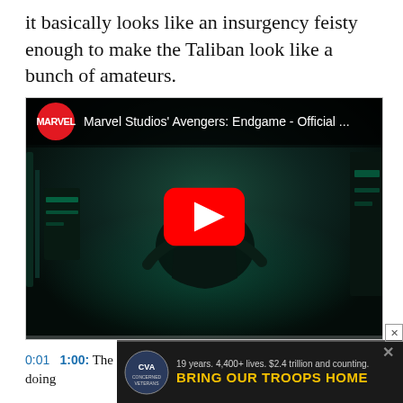it basically looks like an insurgency feisty enough to make the Taliban look like a bunch of amateurs.
[Figure (screenshot): YouTube video embed showing Marvel Studios' Avengers: Endgame - Official ... with the Marvel logo (red circle) in the top bar, dark cinematic scene with a figure kneeling, and a large red YouTube play button in the center.]
0:01  1:00: The first minute of the trailer is Tony Stark doing ... rite
[Figure (screenshot): Ad banner overlay: CVA (Concerned Veterans for America) logo with text '19 years. 4,400+ lives. $2.4 trillion and counting.' and 'BRING OUR TROOPS HOME' in yellow on dark background. Has X close button.]